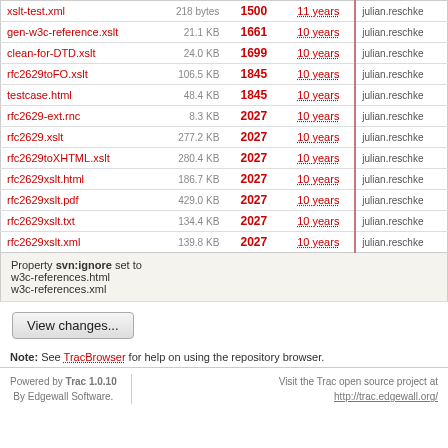| Name | Size | Rev | Age | Author |
| --- | --- | --- | --- | --- |
| xslt-test.xml | 218 bytes | 1500 | 11 years | julian.reschke |
| gen-w3c-reference.xslt | 21.1 KB | 1661 | 10 years | julian.reschke |
| clean-for-DTD.xslt | 24.0 KB | 1699 | 10 years | julian.reschke |
| rfc2629toFO.xslt | 106.5 KB | 1845 | 10 years | julian.reschke |
| testcase.html | 48.4 KB | 1845 | 10 years | julian.reschke |
| rfc2629-ext.rnc | 8.3 KB | 2027 | 10 years | julian.reschke |
| rfc2629.xslt | 277.2 KB | 2027 | 10 years | julian.reschke |
| rfc2629toXHTML.xslt | 280.4 KB | 2027 | 10 years | julian.reschke |
| rfc2629xslt.html | 186.7 KB | 2027 | 10 years | julian.reschke |
| rfc2629xslt.pdf | 429.0 KB | 2027 | 10 years | julian.reschke |
| rfc2629xslt.txt | 134.4 KB | 2027 | 10 years | julian.reschke |
| rfc2629xslt.xml | 139.8 KB | 2027 | 10 years | julian.reschke |
Property svn:ignore set to
w3c-references.html
w3c-references.xml
Note: See TracBrowser for help on using the repository browser.
Powered by Trac 1.0.10
By Edgewall Software.
Visit the Trac open source project at
http://trac.edgewall.org/